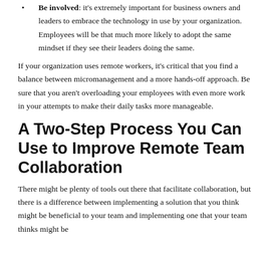Be involved: it's extremely important for business owners and leaders to embrace the technology in use by your organization. Employees will be that much more likely to adopt the same mindset if they see their leaders doing the same.
If your organization uses remote workers, it's critical that you find a balance between micromanagement and a more hands-off approach. Be sure that you aren't overloading your employees with even more work in your attempts to make their daily tasks more manageable.
A Two-Step Process You Can Use to Improve Remote Team Collaboration
There might be plenty of tools out there that facilitate collaboration, but there is a difference between implementing a solution that you think might be beneficial to your team and implementing one that your team thinks might be...